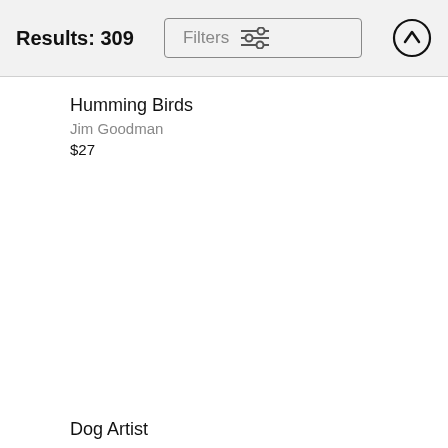Results: 309
Humming Birds
Jim Goodman
$27
Dog Artist